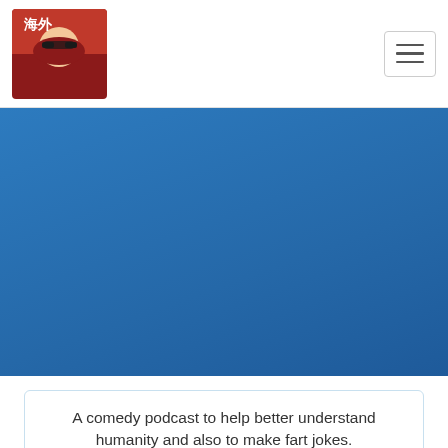[Figure (logo): Podcast logo image in top left corner - small square image with red/dark tones showing a person with glasses]
[Figure (photo): Blue hero banner/background image spanning the width of the page]
A comedy podcast to help better understand humanity and also to make fart jokes.
[Figure (infographic): Row of social media icon buttons: Facebook, RSS, Podchaser, Podcasts/Apple, Stitcher, Spotify, YouTube]
All Episodes / 2019 / 10
#372: 'Roid Rage (@iAmMikeCannon)